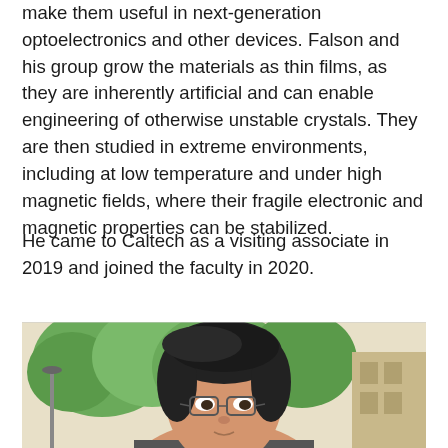make them useful in next-generation optoelectronics and other devices. Falson and his group grow the materials as thin films, as they are inherently artificial and can enable engineering of otherwise unstable crystals. They are then studied in extreme environments, including at low temperature and under high magnetic fields, where their fragile electronic and magnetic properties can be stabilized.
He came to Caltech as a visiting associate in 2019 and joined the faculty in 2020.
[Figure (photo): Portrait photo of a young Asian man with short dark hair and glasses, photographed outdoors with green trees and a building in the background.]